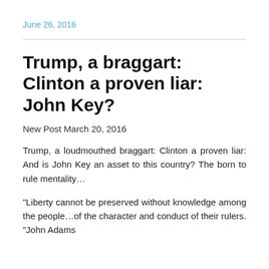June 26, 2016
Trump, a braggart: Clinton a proven liar: John Key?
New Post March 20, 2016
Trump, a loudmouthed braggart: Clinton a proven liar: And is John Key an asset to this country? The born to rule mentality…
“Liberty cannot be preserved without knowledge among the people…of the character and conduct of their rulers.“John Adams